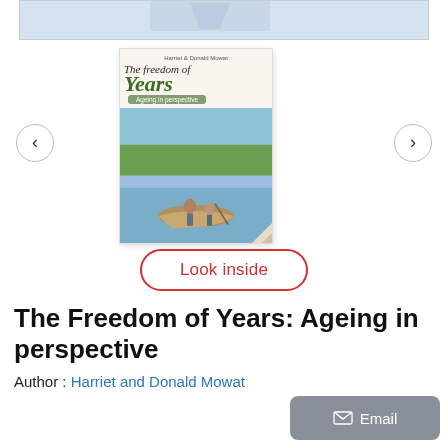[Figure (screenshot): Top portion of a previous carousel image partially visible at the top of the page, cropped.]
[Figure (illustration): Book cover thumbnail for 'The Freedom of Years: Ageing in perspective' by Harriet and Donald Mowat, showing a canoe on a river with green surroundings. Carousel with left and right navigation arrows.]
Look inside
The Freedom of Years: Ageing in perspective
Author : Harriet and Donald Mowat
Email